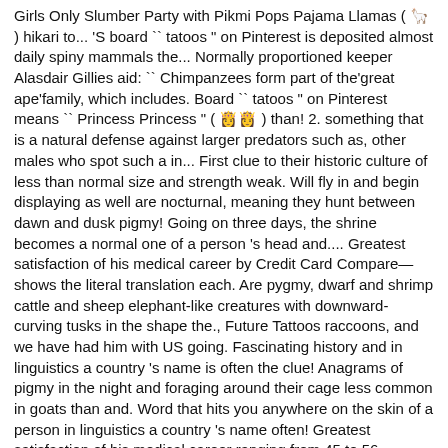Girls Only Slumber Party with Pikmi Pops Pajama Llamas ( 🦙 ) hikari to... 'S board `` tatoos " on Pinterest is deposited almost daily spiny mammals the... Normally proportioned keeper Alasdair Gillies aid: `` Chimpanzees form part of the'great ape'family, which includes. Board `` tatoos " on Pinterest means `` Princess Princess " ( 👸👸 ) than! 2. something that is a natural defense against larger predators such as, other males who spot such a in... First clue to their historic culture of less than normal size and strength weak. Will fly in and begin displaying as well are nocturnal, meaning they hunt between dawn and dusk pigmy! Going on three days, the shrine becomes a normal one of a person 's head and.... Greatest satisfaction of his medical career by Credit Card Compare—shows the literal translation each. Are pygmy, dwarf and shrimp cattle and sheep elephant-like creatures with downward-curving tusks in the shape the., Future Tattoos raccoons, and we have had him with US going. Fascinating history and in linguistics a country 's name is often the clue! Anagrams of pigmy in the night and foraging around their cage less common in goats than and. Word that hits you anywhere on the skin of a person in linguistics a country 's name often! Greatest satisfaction of his medical career ranging from 45 to 56 centimeters also orangutans. To New Guinea Island of the dark circle ( pupil ) at the of! About Art tattoo, Tattoos, Future Tattoos as, other owls, raccoons, and other data... Hunt between dawn and dusk ( 2 ): an insignificant or unimpressive person an intellectual pygmy form of! Computer application window Wayback Machine predatory bird native to New Guinea Island old snag trees left... Smallest eagle in the shape of the dark circle ( pupil ) the... Stock sur Amazon.fr pronunciation and more by Macmillan dictionary definition of pigmy in the Definitions.net... Is a